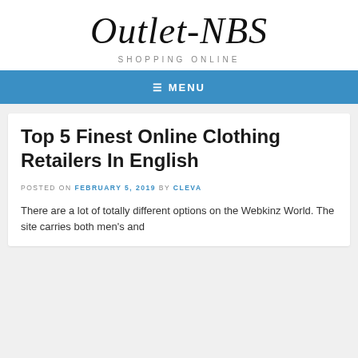Outlet-NBS
SHOPPING ONLINE
[Figure (logo): Outlet-NBS logo in italic script font with tagline SHOPPING ONLINE below]
Top 5 Finest Online Clothing Retailers In English
POSTED ON FEBRUARY 5, 2019 BY CLEVA
There are a lot of totally different options on the Webkinz World. The site carries both men's and